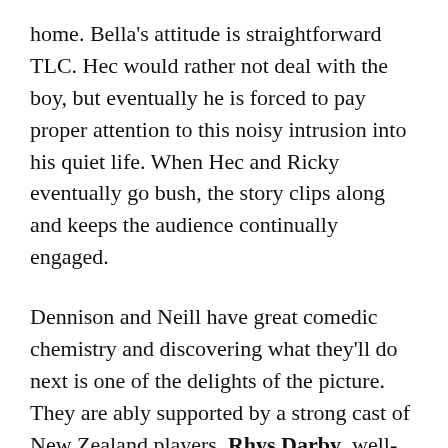home. Bella's attitude is straightforward TLC. Hec would rather not deal with the boy, but eventually he is forced to pay proper attention to this noisy intrusion into his quiet life. When Hec and Ricky eventually go bush, the story clips along and keeps the audience continually engaged.
Dennison and Neill have great comedic chemistry and discovering what they'll do next is one of the delights of the picture. They are ably supported by a strong cast of New Zealand players. Rhys Darby, well-known to Australian audiences as Murray from Flight of the Conchords, does an appropriately over-the-top turn as paranoid loner Psycho Sam. Rima Te Wiata is winning as the